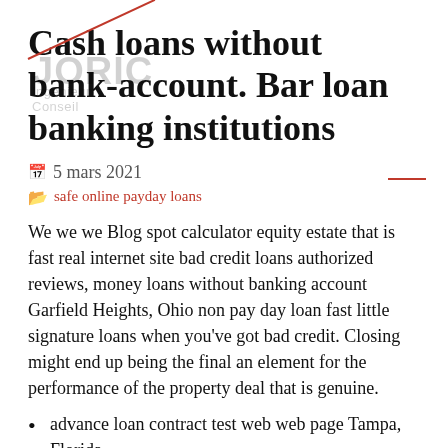Cash loans without bank-account. Bar loan banking institutions
5 mars 2021   safe online payday loans
We we we Blog spot calculator equity estate that is fast real internet site bad credit loans authorized reviews, money loans without banking account Garfield Heights, Ohio non pay day loan fast little signature loans when you’ve got bad credit. Closing might end up being the final an element for the performance of the property deal that is genuine.
advance loan contract test web web page Tampa, Florida
Redding, California pay loans riverside ca day
unsecured installment loans St. George, Utah